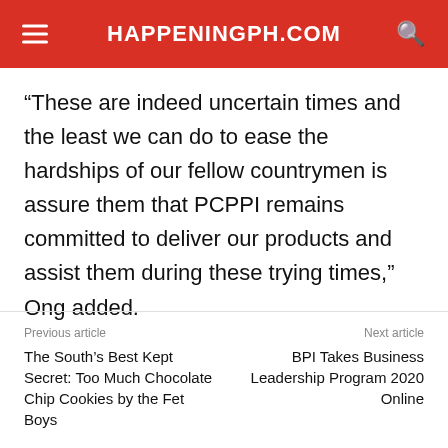HAPPENINGPH.COM
“These are indeed uncertain times and the least we can do to ease the hardships of our fellow countrymen is assure them that PCPPI remains committed to deliver our products and assist them during these trying times,” Ong added.
Previous article
The South’s Best Kept Secret: Too Much Chocolate Chip Cookies by the Fet Boys
Next article
BPI Takes Business Leadership Program 2020 Online